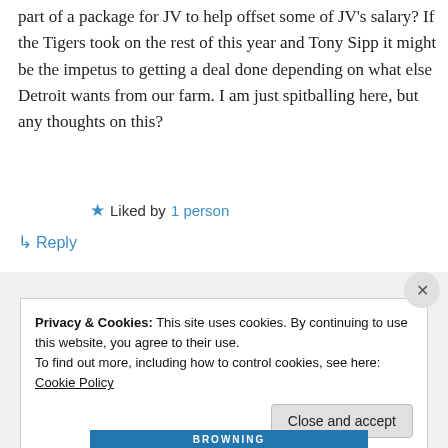part of a package for JV to help offset some of JV's salary? If the Tigers took on the rest of this year and Tony Sipp it might be the impetus to getting a deal done depending on what else Detroit wants from our farm. I am just spitballing here, but any thoughts on this?
★ Liked by 1 person
↵ Reply
Privacy & Cookies: This site uses cookies. By continuing to use this website, you agree to their use.
To find out more, including how to control cookies, see here: Cookie Policy
Close and accept